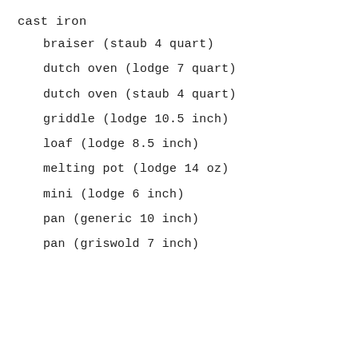cast iron
braiser (staub 4 quart)
dutch oven (lodge 7 quart)
dutch oven (staub 4 quart)
griddle (lodge 10.5 inch)
loaf (lodge 8.5 inch)
melting pot (lodge 14 oz)
mini (lodge 6 inch)
pan (generic 10 inch)
pan (griswold 7 inch)